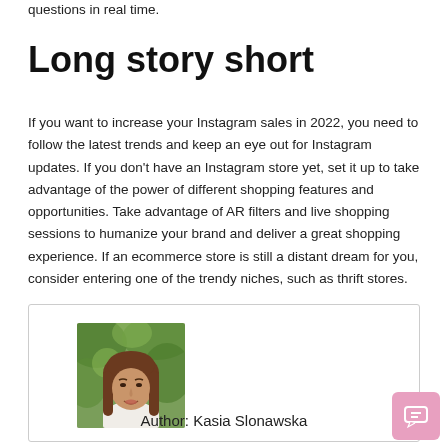questions in real time.
Long story short
If you want to increase your Instagram sales in 2022, you need to follow the latest trends and keep an eye out for Instagram updates. If you don't have an Instagram store yet, set it up to take advantage of the power of different shopping features and opportunities. Take advantage of AR filters and live shopping sessions to humanize your brand and deliver a great shopping experience. If an ecommerce store is still a distant dream for you, consider entering one of the trendy niches, such as thrift stores.
[Figure (photo): Author photo of Kasia Slonawska, a young woman with long brown hair, smiling, in front of green foliage background.]
Author: Kasia Slonawska